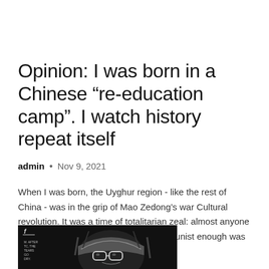Opinion: I was born in a Chinese “re-education camp”. I watch history repeat itself
admin • Nov 9, 2021
When I was born, the Uyghur region - like the rest of China - was in the grip of Mao Zedong’s war Cultural revolution. It was a time of totalitarian zeal: almost anyone who was suspected of not being Communist enough was beaten,...
[Figure (illustration): Black and white illustration of a person wearing glasses and a head covering, rendered in a stark graphic style.]